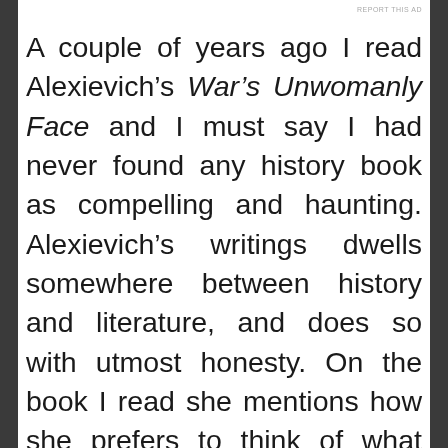REPORT THIS AD
A couple of years ago I read Alexievich’s War’s Unwomanly Face and I must say I had never found any history book as compelling and haunting. Alexievich’s writings dwells somewhere between history and literature, and does so with utmost honesty. On the book I read she mentions how she prefers to think of what she does as a “history of the